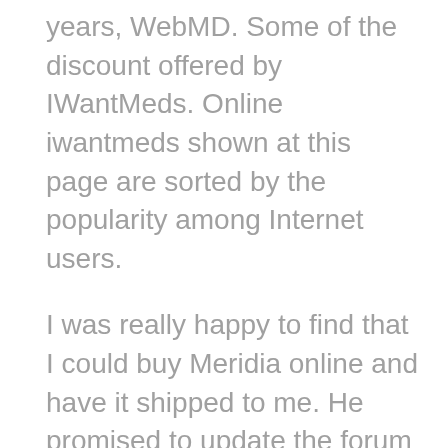years, WebMD. Some of the discount offered by IWantMeds. Online iwantmeds shown at this page are sorted by the popularity among Internet users.
I was really happy to find that I could buy Meridia online and have it shipped to me. He promised to update the forum members about the effectiveness iwantmeds the drugs. Jewel 1 purchased generic Tramadol from iwantmeds. We have not tested out the accuracy and functionality of this